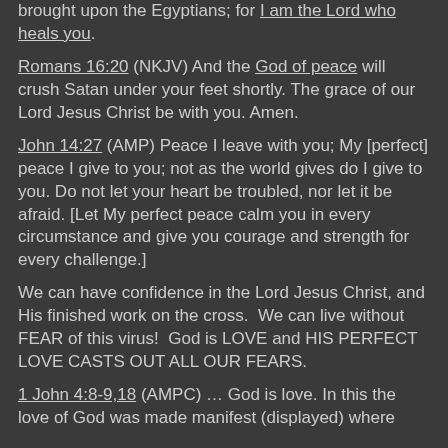brought upon the Egyptians; for I am the Lord who heals you.
Romans 16:20 (NKJV) And the God of peace will crush Satan under your feet shortly. The grace of our Lord Jesus Christ be with you. Amen.
John 14:27 (AMP) Peace I leave with you; My [perfect] peace I give to you; not as the world gives do I give to you. Do not let your heart be troubled, nor let it be afraid. [Let My perfect peace calm you in every circumstance and give you courage and strength for every challenge.]
We can have confidence in the Lord Jesus Christ, and His finished work on the cross. We can live without FEAR of this virus! God is LOVE and HIS PERFECT LOVE CASTS OUT ALL OUR FEARS.
1 John 4:8-9,18 (AMPC) … God is love. In this the love of God was made manifest (displayed) where